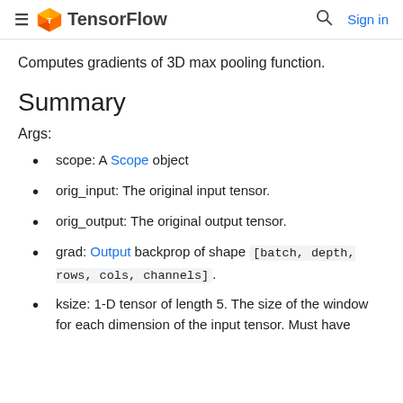≡  TensorFlow    🔍  Sign in
Computes gradients of 3D max pooling function.
Summary
Args:
scope: A Scope object
orig_input: The original input tensor.
orig_output: The original output tensor.
grad: Output backprop of shape [batch, depth, rows, cols, channels].
ksize: 1-D tensor of length 5. The size of the window for each dimension of the input tensor. Must have